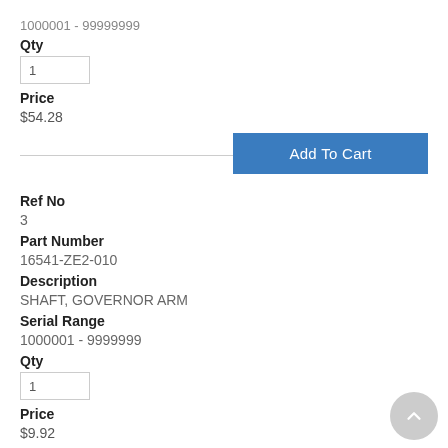1000001 - 99999999
Qty
Price
$54.28
Add To Cart
Ref No
3
Part Number
16541-ZE2-010
Description
SHAFT, GOVERNOR ARM
Serial Range
1000001 - 9999999
Qty
Price
$9.92